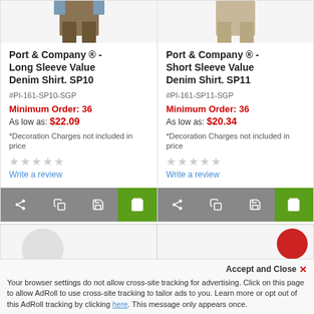[Figure (photo): Product image of Port & Company Long Sleeve Value Denim Shirt SP10]
[Figure (photo): Product image of Port & Company Short Sleeve Value Denim Shirt SP11]
Port & Company ® - Long Sleeve Value Denim Shirt. SP10
#PI-161-SP10-SGP
Minimum Order: 36
As low as: $22.09
*Decoration Charges not included in price
Write a review
Port & Company ® - Short Sleeve Value Denim Shirt. SP11
#PI-161-SP11-SGP
Minimum Order: 36
As low as: $20.34
*Decoration Charges not included in price
Write a review
Your browser settings do not allow cross-site tracking for advertising. Click on this page to allow AdRoll to use cross-site tracking to tailor ads to you. Learn more or opt out of this AdRoll tracking by clicking here. This message only appears once.